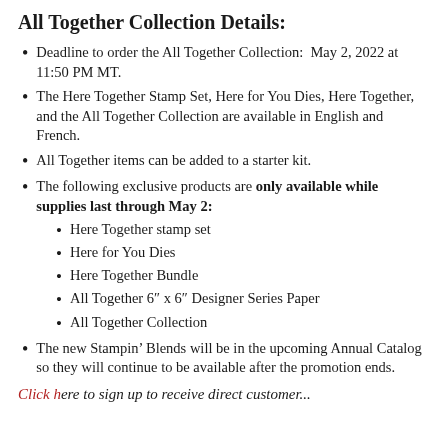All Together Collection Details:
Deadline to order the All Together Collection: May 2, 2022 at 11:50 PM MT.
The Here Together Stamp Set, Here for You Dies, Here Together, and the All Together Collection are available in English and French.
All Together items can be added to a starter kit.
The following exclusive products are only available while supplies last through May 2:
Here Together stamp set
Here for You Dies
Here Together Bundle
All Together 6" x 6" Designer Series Paper
All Together Collection
The new Stampin’ Blends will be in the upcoming Annual Catalog so they will continue to be available after the promotion ends.
Click here to sign up to receive direct customer...